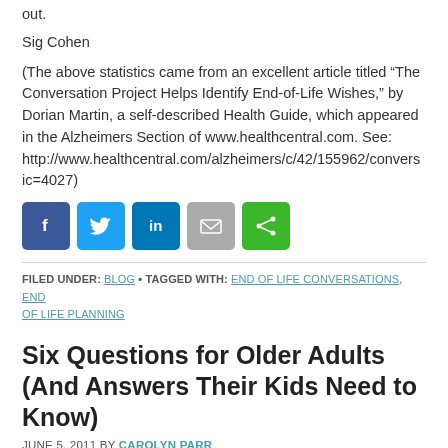out.
Sig Cohen
(The above statistics came from an excellent article titled “The Conversation Project Helps Identify End-of-Life Wishes,” by Dorian Martin, a self-described Health Guide, which appeared in the Alzheimers Section of www.healthcentral.com. See: http://www.healthcentral.com/alzheimers/c/42/155962/convers ic=4027)
[Figure (other): Social sharing buttons: Facebook (blue), Twitter (light blue), LinkedIn (dark blue), Email (gray), Share (green)]
FILED UNDER: BLOG • TAGGED WITH: END OF LIFE CONVERSATIONS, END OF LIFE PLANNING
Six Questions for Older Adults (And Answers Their Kids Need to Know)
JUNE 5, 2011 BY CAROLYN PARR
Sig and I recently led a communications workshop for 40